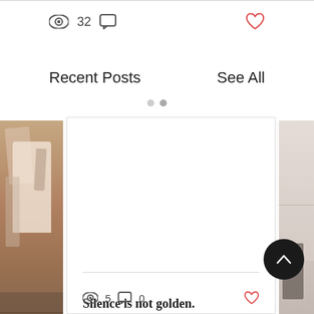32
Recent Posts
See All
[Figure (screenshot): Blog post card showing 'Silence is not golden.' with view count 5, comment count 0, and a heart icon. Flanked by partial images of clothing/interior scenes.]
Silence is not golden.
5
0